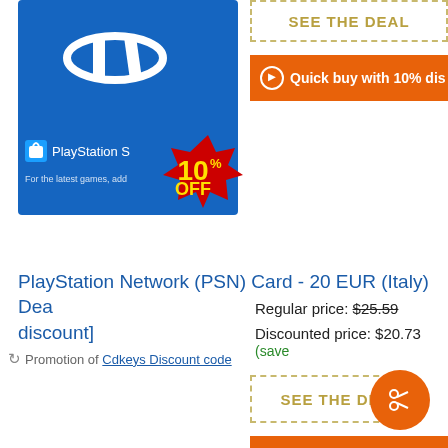[Figure (screenshot): PlayStation Network card image with blue background, PlayStation logo, 'PlayStation S' text, 'For the latest games, add...' text, and a red starburst badge showing '10% OFF' in yellow text]
SEE THE DEAL
Quick buy with 10% dis[count]
PlayStation Network (PSN) Card - 20 EUR (Italy) Dea[l with 10% discount]
Promotion of Cdkeys Discount code
Regular price: $25.59
Discounted price: $20.73 (save...)
SEE THE DE[AL]